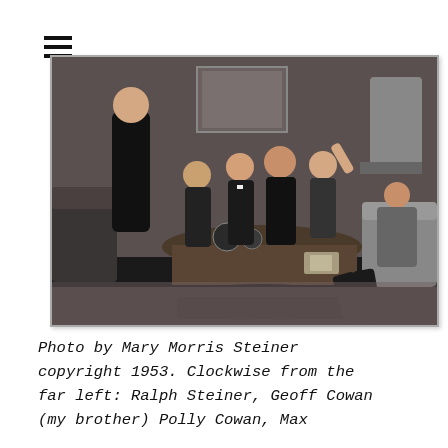[Figure (photo): Black and white photograph of a group of people gathered around a coffee table in a living room. A man in dark clothing stands on the left leaning over. Several people sit on the floor and couch. One person lies on the floor in the foreground.]
Photo by Mary Morris Steiner copyright 1953. Clockwise from the far left: Ralph Steiner, Geoff Cowan (my brother) Polly Cowan, Max